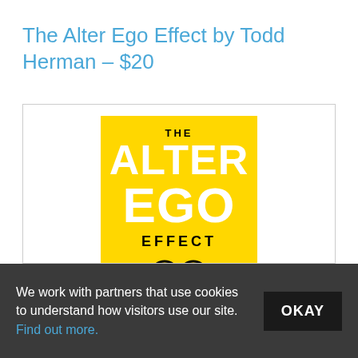The Alter Ego Effect by Todd Herman – $20
[Figure (photo): Book cover of 'The Alter Ego Effect' by Todd Herman. Yellow cover with large white bold text 'THE ALTER EGO' and 'EFFECT' in black, with an illustration of black glasses in the center. Subtitle reads 'THE POWER OF SECRET IDENTITIES TO TRANSFORM YOUR LIFE'.]
We work with partners that use cookies to understand how visitors use our site. Find out more.